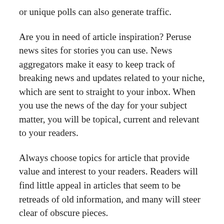or unique polls can also generate traffic.
Are you in need of article inspiration? Peruse news sites for stories you can use. News aggregators make it easy to keep track of breaking news and updates related to your niche, which are sent to straight to your inbox. When you use the news of the day for your subject matter, you will be topical, current and relevant to your readers.
Always choose topics for article that provide value and interest to your readers. Readers will find little appeal in articles that seem to be retreads of old information, and many will steer clear of obscure pieces.
Establish a unique perspective and style in your pieces. You want to show your readers who you are by highlighting your personality in your